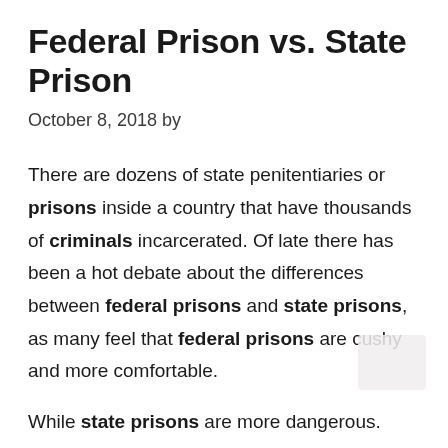Federal Prison vs. State Prison
October 8, 2018 by
There are dozens of state penitentiaries or prisons inside a country that have thousands of criminals incarcerated. Of late there has been a hot debate about the differences between federal prisons and state prisons, as many feel that federal prisons are cushy and more comfortable.
While state prisons are more dangerous.